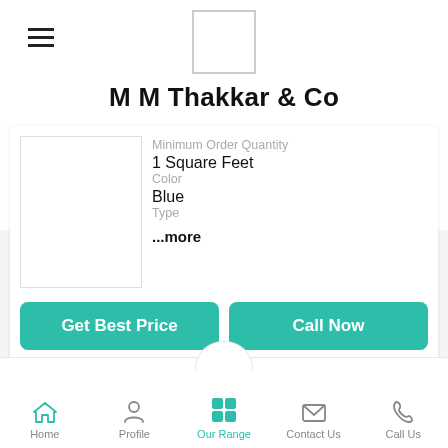M M Thakkar & Co
[Figure (logo): Company logo placeholder box (white square with gray border)]
M M Thakkar & Co
Minimum Order Quantity
1 Square Feet
Color
Blue
Type
...more
Get Best Price
Call Now
Home  Profile  Our Range  Contact Us  Call Us